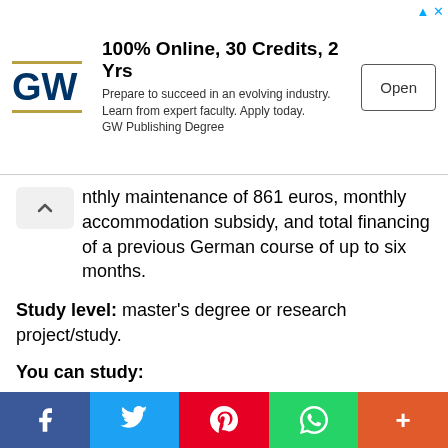[Figure (other): GW University advertisement banner: 100% Online, 30 Credits, 2 Yrs. Prepare to succeed in an evolving industry. Learn from expert faculty. Apply today. GW Publishing Degree. With Open button.]
nthly maintenance of 861 euros, monthly accommodation subsidy, and total financing of a previous German course of up to six months.
Study level: master's degree or research project/study.
You can study:
Architecture, Interior Design.
Conservation of Monuments.
Urban planification...